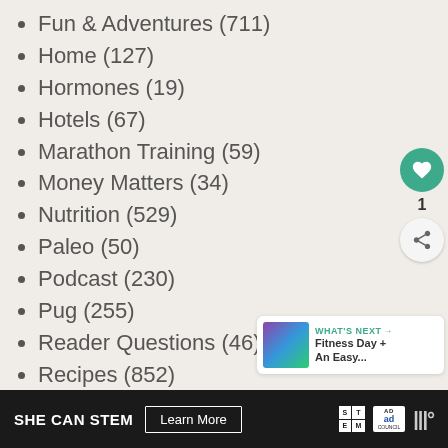Fun & Adventures (711)
Home (127)
Hormones (19)
Hotels (67)
Marathon Training (59)
Money Matters (34)
Nutrition (529)
Paleo (50)
Podcast (230)
Pug (255)
Reader Questions (46)
Recipes (852)
Appetizers (33)
Breakfast (63)
Cocktails (7)
Desserts (54)
Main Dish (96)
SHE CAN STEM  Learn More  [ad council logo]